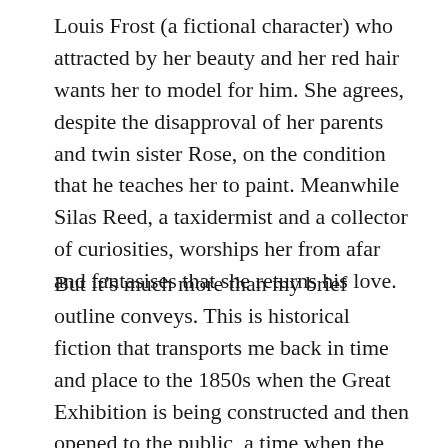Louis Frost (a fictional character) who attracted by her beauty and her red hair wants her to model for him. She agrees, despite the disapproval of her parents and twin sister Rose, on the condition that he teaches her to paint. Meanwhile Silas Reed, a taxidermist and a collector of curiosities, worships her from afar and fantasises that she returns his love.
But it's much more than my brief outline conveys. This is historical fiction that transports me back in time and place to the 1850s when the Great Exhibition is being constructed and then opened to the public, a time when the young artists who had recently formed the Pre-Raphaelite Brotherhood, first formed in the summer of 1848, are